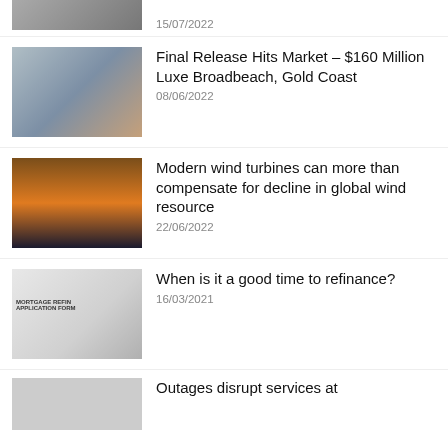[Figure (photo): Partial image cropped at top]
15/07/2022
[Figure (photo): Couple standing in a modern kitchen]
Final Release Hits Market – $160 Million Luxe Broadbeach, Gold Coast
08/06/2022
[Figure (photo): Wind turbines silhouetted against an orange sunset sky]
Modern wind turbines can more than compensate for decline in global wind resource
22/06/2022
[Figure (photo): Mortgage refinance application form with house key]
When is it a good time to refinance?
16/03/2021
[Figure (photo): Partial image at bottom, dark tones]
Outages disrupt services at